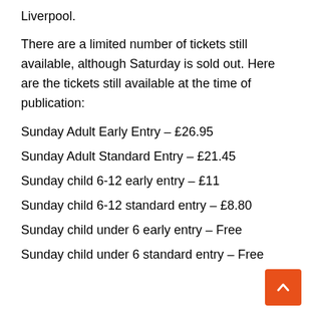Liverpool.
There are a limited number of tickets still available, although Saturday is sold out. Here are the tickets still available at the time of publication:
Sunday Adult Early Entry – £26.95
Sunday Adult Standard Entry – £21.45
Sunday child 6-12 early entry – £11
Sunday child 6-12 standard entry – £8.80
Sunday child under 6 early entry – Free
Sunday child under 6 standard entry – Free